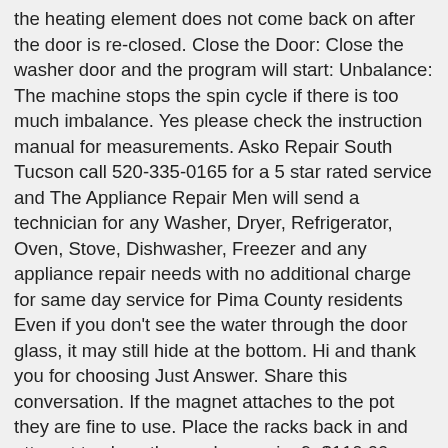the heating element does not come back on after the door is re-closed. Close the Door: Close the washer door and the program will start: Unbalance: The machine stops the spin cycle if there is too much imbalance. Yes please check the instruction manual for measurements. Asko Repair South Tucson call 520-335-0165 for a 5 star rated service and The Appliance Repair Men will send a technician for any Washer, Dryer, Refrigerator, Oven, Stove, Dishwasher, Freezer and any appliance repair needs with no additional charge for same day service for Pima County residents Even if you don't see the water through the door glass, it may still hide at the bottom. Hi and thank you for choosing Just Answer. Share this conversation. If the magnet attaches to the pot they are fine to use. Place the racks back in and attempt to close the washer again. 9. $110.00. Amana Washer NFW7300WW02 Lid or door won't close Lid or door won't close is the 8th most common symptom for Amana NFW7300WW02. Here are the most common reasons your Asko dishwasher won't start - and the parts & instructions to